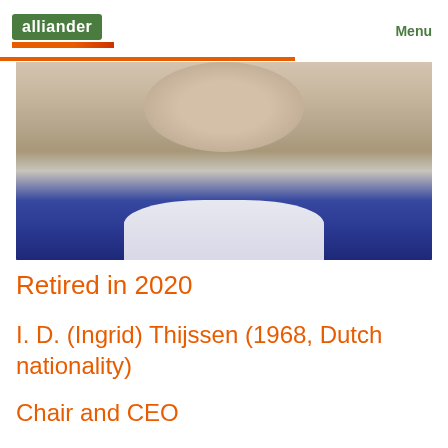alliander  Menu
[Figure (photo): Close-up photo of a person wearing a blue blazer and white shirt, showing the lower face and neck area against a blurred grey background.]
Retired in 2020
I. D. (Ingrid) Thijssen (1968, Dutch nationality)
Chair and CEO